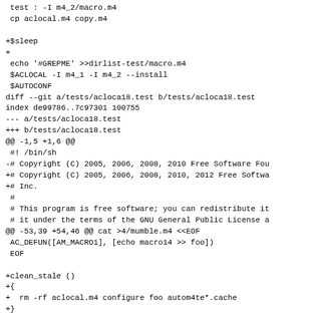test : -I m4_2/macro.m4
 cp aclocal.m4 copy.m4

+$sleep
+
 echo '#GREPME' >>dirlist-test/macro.m4
 $ACLOCAL -I m4_1 -I m4_2 --install
 $AUTOCONF
diff --git a/tests/acloca18.test b/tests/acloca18.test
index de99786..7c97301 100755
--- a/tests/acloca18.test
+++ b/tests/acloca18.test
@@ -1,5 +1,6 @@
 #! /bin/sh
-# Copyright (C) 2005, 2006, 2008, 2010 Free Software Fou
+# Copyright (C) 2005, 2006, 2008, 2010, 2012 Free Softwa
+# Inc.
 #
 # This program is free software; you can redistribute it
 # it under the terms of the GNU General Public License a
@@ -53,39 +54,46 @@ cat >4/mumble.m4 <<EOF
 AC_DEFUN([AM_MACRO1], [echo macro14 >> foo])
 EOF

+clean_stale ()
+{
+  rm -rf aclocal.m4 configure foo autom4te*.cache
+}
+
  $ACLOCAL -I 1 -I 2 -I 3 -I 4
 $AUTOCONF